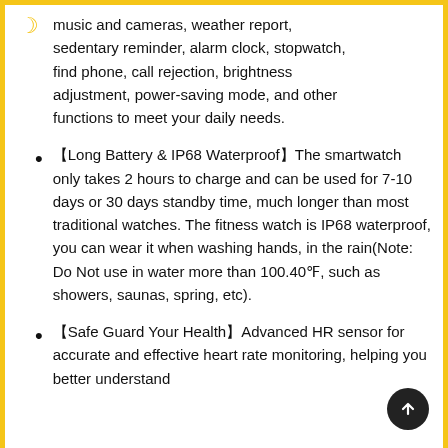music and cameras, weather report, sedentary reminder, alarm clock, stopwatch, find phone, call rejection, brightness adjustment, power-saving mode, and other functions to meet your daily needs.
【Long Battery & IP68 Waterproof】The smartwatch only takes 2 hours to charge and can be used for 7-10 days or 30 days standby time, much longer than most traditional watches. The fitness watch is IP68 waterproof, you can wear it when washing hands, in the rain(Note: Do Not use in water more than 100.40℉, such as showers, saunas, spring, etc).
【Safe Guard Your Health】Advanced HR sensor for accurate and effective heart rate monitoring, helping you better understand